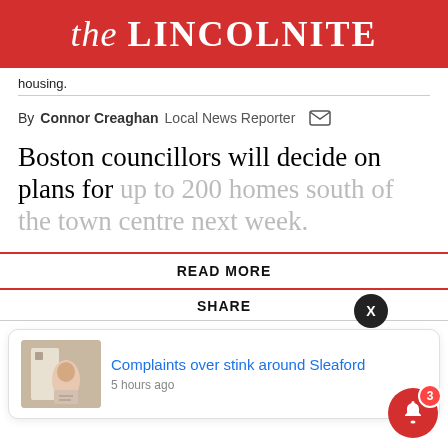the LINCOLNITE
housing.
By Connor Creaghan  Local News Reporter
Boston councillors will decide on plans for up to 200 homes south of the town centre next week.
READ MORE
SHARE
Complaints over stink around Sleaford  5 hours ago